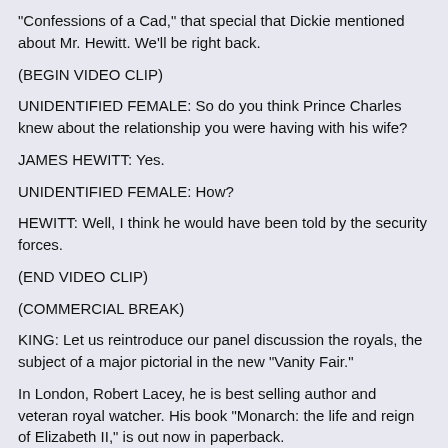"Confessions of a Cad," that special that Dickie mentioned about Mr. Hewitt. We'll be right back.
(BEGIN VIDEO CLIP)
UNIDENTIFIED FEMALE: So do you think Prince Charles knew about the relationship you were having with his wife?
JAMES HEWITT: Yes.
UNIDENTIFIED FEMALE: How?
HEWITT: Well, I think he would have been told by the security forces.
(END VIDEO CLIP)
(COMMERCIAL BREAK)
KING: Let us reintroduce our panel discussion the royals, the subject of a major pictorial in the new "Vanity Fair."
In London, Robert Lacey, he is best selling author and veteran royal watcher. His book "Monarch: the life and reign of Elizabeth II," is out now in paperback.
In Washington is Kitty Kelley, the "New York Times" best selling biographer, author of the book the royals. Currently working on the biographer of the Bush dynasty.